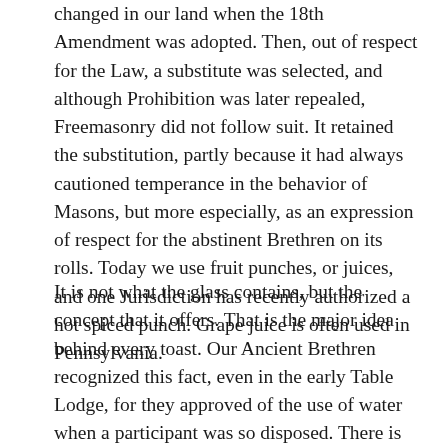changed in our land when the 18th Amendment was adopted. Then, out of respect for the Law, a substitute was selected, and although Prohibition was later repealed, Freemasonry did not follow suit. It retained the substitution, partly because it had always cautioned temperance in the behavior of Masons, but more especially, as an expression of respect for the abstinent Brethren on its rolls. Today we use fruit punches, or juices, and one Jurisdiction has recently authorized a hot spiced punch. Grape juice is often used in Pennsylvania.
It is not what the glass contains, but the concept that it offers. That is the major idea behind every toast. Our Ancient Brethren recognized this fact, even in the early Table Lodge, for they approved of the use of water when a participant was so disposed. There is an old Masonic poem, entitled, “Come Quaff the Mason’s Bowl”, published in 1847, when wine was the custom. It emphasized symbolism of the Cup in Freemasonry.